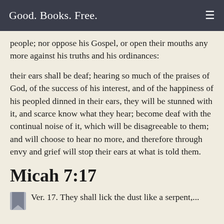Good. Books. Free.
people; nor oppose his Gospel, or open their mouths any more against his truths and his ordinances:
their ears shall be deaf; hearing so much of the praises of God, of the success of his interest, and of the happiness of his peopled dinned in their ears, they will be stunned with it, and scarce know what they hear; become deaf with the continual noise of it, which will be disagreeable to them; and will choose to hear no more, and therefore through envy and grief will stop their ears at what is told them.
Micah 7:17
Ver. 17. They shall lick the dust like a serpent,...